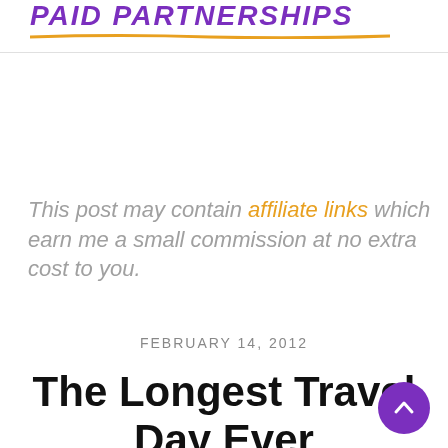PAID PARTNERSHIPS
This post may contain affiliate links which earn me a small commission at no extra cost to you.
FEBRUARY 14, 2012
The Longest Travel Day Ever